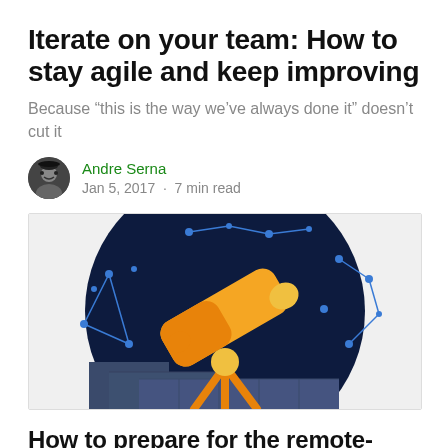Iterate on your team: How to stay agile and keep improving
Because “this is the way we’ve always done it” doesn’t cut it
Andre Serna
Jan 5, 2017 · 7 min read
[Figure (illustration): Illustration of a golden/orange telescope on a tripod against a dark navy night sky with blue constellation dot-and-line patterns. The telescope sits on grey stepped blocks.]
How to prepare for the remote-friendly future of work